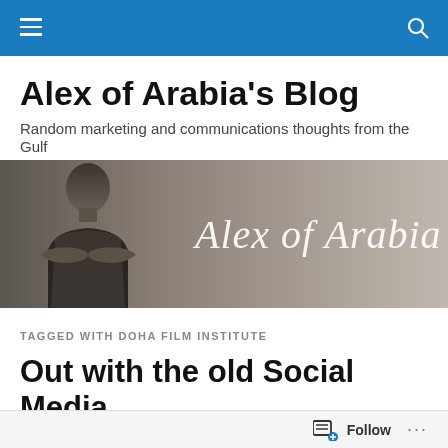Alex of Arabia's Blog
Random marketing and communications thoughts from the Gulf
[Figure (photo): Black and white photo of a man with arms crossed, text 'Alex of Arabia' in italic script overlay on a taupe/grey background]
TAGGED WITH DOHA FILM INSTITUTE
Out with the old Social Media, in with the new? With…